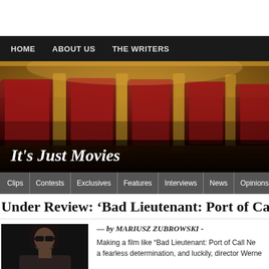HOME   ABOUT US   THE WRITERS
[Figure (photo): Theatre interior banner showing ornate red curtains and golden columns in a grand theater, with site title 'It's Just Movies' overlaid at bottom left]
Clips  Contests  Exclusives  Features  Interviews  News  Opinions  Posters &
Under Review: 'Bad Lieutenant: Port of Call New
[Figure (photo): Black and white photo of a man wearing sunglasses, likely Nicolas Cage, shown from chest up]
— by MARIUSZ ZUBROWSKI -
Making a film like "Bad Lieutenant: Port of Call Ne a fearless determination, and luckily, director Werne